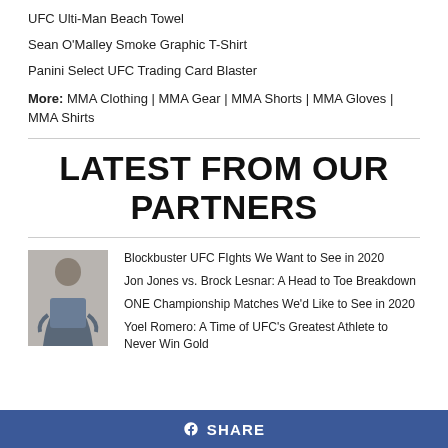UFC Ulti-Man Beach Towel
Sean O'Malley Smoke Graphic T-Shirt
Panini Select UFC Trading Card Blaster
More: MMA Clothing | MMA Gear | MMA Shorts | MMA Gloves | MMA Shirts
LATEST FROM OUR PARTNERS
[Figure (photo): A man in a blue polo shirt standing indoors]
Blockbuster UFC FIghts We Want to See in 2020
Jon Jones vs. Brock Lesnar: A Head to Toe Breakdown
ONE Championship Matches We'd Like to See in 2020
Yoel Romero: A Time of UFC's Greatest Athlete to Never Win Gold
f SHARE